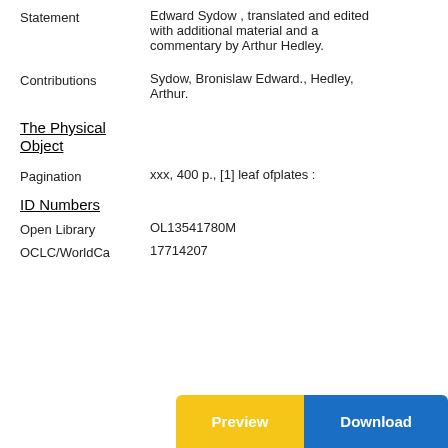Statement: Edward Sydow, translated and edited with additional material and a commentary by Arthur Hedley.
Contributions: Sydow, Bronislaw Edward., Hedley, Arthur.
The Physical Object
Pagination: xxx, 400 p., [1] leaf ofplates :
ID Numbers
Open Library: OL13541780M
OCLC/WorldCa: 17714207